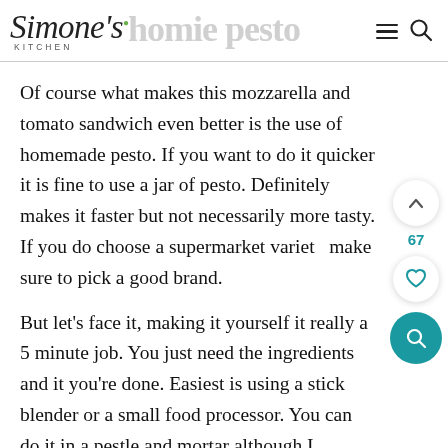Simone's Kitchen — homemade pesto
Of course what makes this mozzarella and tomato sandwich even better is the use of homemade pesto. If you want to do it quicker it is fine to use a jar of pesto. Definitely makes it faster but not necessarily more tasty. If you do choose a supermarket variety make sure to pick a good brand.
But let's face it, making it yourself it really a 5 minute job. You just need the ingredients and it you're done. Easiest is using a stick blender or a small food processor. You can do it in a pestle and mortar although I always find they are simply too